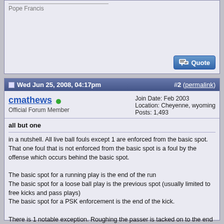Pope Francis
Wed Jun 25, 2008, 04:17pm  #2 (permalink)
cmathews
Official Forum Member
Join Date: Feb 2003
Location: Cheyenne, wyoming
Posts: 1,493
all but one
in a nutshell. All live ball fouls except 1 are enforced from the basic spot. That one foul that is not enforced from the basic spot is a foul by the offense which occurs behind the basic spot.

The basic spot for a running play is the end of the run
The basic spot for a loose ball play is the previous spot (usually limited to free kicks and pass plays)
The basic spot for a PSK enforcement is the end of the kick.

There is 1 notable exception. Roughing the passer is tacked on to the end of the run even though it occurs during a loose ball play.

These are the basics of the all but one principle

so endeth the lesson LOL
The officials lament, or the coaches excuses as it were: "I didn't